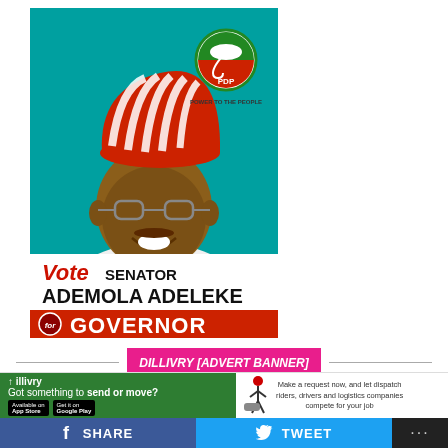[Figure (illustration): Campaign poster for Senator Ademola Adeleke running for Governor under PDP (Peoples Democratic Party). Candidate wears a red-striped cap on a teal background. Text reads: Vote SENATOR ADEMOLA ADELEKE for GOVERNOR. PDP logo with umbrella and text POWER TO THE PEOPLE visible top right.]
DILLIVRY [ADVERT BANNER]
[Figure (infographic): Dillivry advertisement banner. Green left panel: 'dillivry - Got something to send or move?' Right panel: person on motorbike, text: 'Make a request now, and let dispatch riders, drivers and logistics companies compete for your job']
SHARE
TWEET